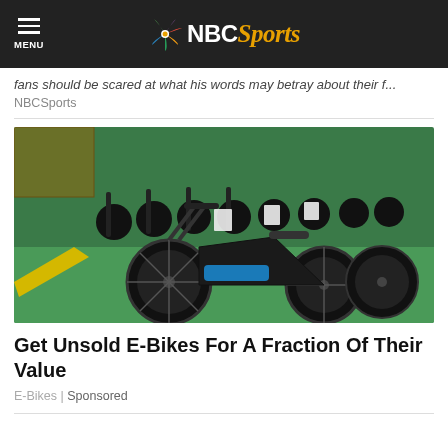NBC Sports
fans should be scared at what his words may betray about their...
NBCSports
[Figure (photo): Rows of black electric bicycles (e-bikes) with fat tires lined up in a warehouse with green flooring and a yellow stripe.]
Get Unsold E-Bikes For A Fraction Of Their Value
E-Bikes | Sponsored